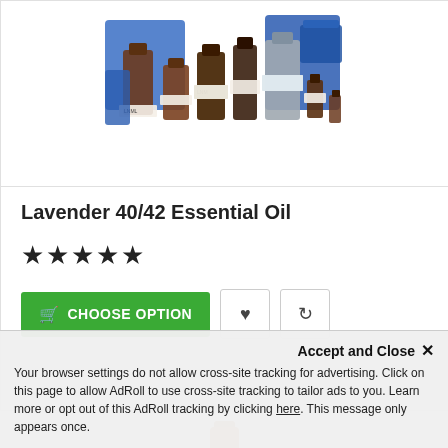[Figure (photo): Product photo showing multiple bottles and containers of Lavender essential oil in various sizes, with blue storage bins in background]
Lavender 40/42 Essential Oil
★★★★★
CHOOSE OPTION (button with shopping cart icon), heart icon button, refresh icon button
[Figure (photo): Amber glass bottle without cap, open top, brown/orange glass]
Accept and Close ✕
Your browser settings do not allow cross-site tracking for advertising. Click on this page to allow AdRoll to use cross-site tracking to tailor ads to you. Learn more or opt out of this AdRoll tracking by clicking here. This message only appears once.